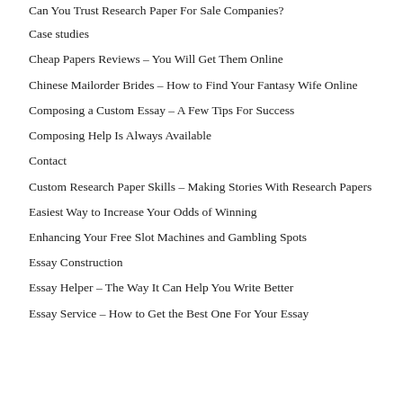Can You Trust Research Paper For Sale Companies?
Case studies
Cheap Papers Reviews – You Will Get Them Online
Chinese Mailorder Brides – How to Find Your Fantasy Wife Online
Composing a Custom Essay – A Few Tips For Success
Composing Help Is Always Available
Contact
Custom Research Paper Skills – Making Stories With Research Papers
Easiest Way to Increase Your Odds of Winning
Enhancing Your Free Slot Machines and Gambling Spots
Essay Construction
Essay Helper – The Way It Can Help You Write Better
Essay Service – How to Get the Best One For Your Essay